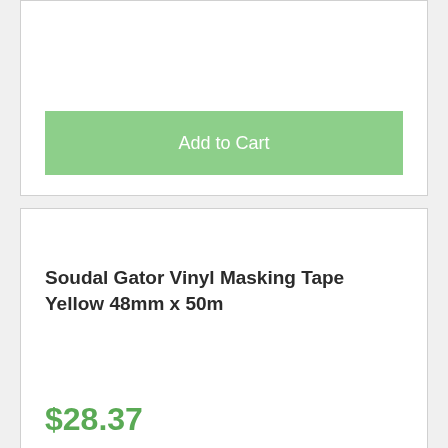Add to Cart
Soudal Gator Vinyl Masking Tape Yellow 48mm x 50m
$28.37
excl GST
Add to Cart
Soudal Gorilla General Purpose Masking Tape Cream 36mm x 50m